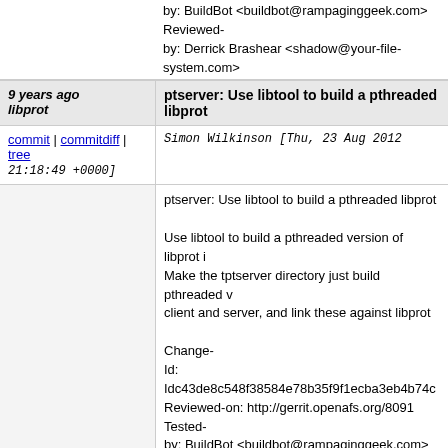by: BuildBot <buildbot@rampaginggeek.com> Reviewed-
by: Derrick Brashear <shadow@your-file-system.com>
9 years ago
libprot
ptserver: Use libtool to build a pthreaded libprot
commit | commitdiff | tree
Simon Wilkinson [Thu, 23 Aug 2012 21:18:49 +0000]
ptserver: Use libtool to build a pthreaded libprot

Use libtool to build a pthreaded version of libprot i
Make the tptserver directory just build pthreaded v
client and server, and link these against libprot

Change-
Id: Idc43de8c548f38584e78b35f9f1ecba3eb4b74c
Reviewed-on: http://gerrit.openafs.org/8091
Tested-
by: BuildBot <buildbot@rampaginggeek.com>
Reviewed-
by: Derrick Brashear <shadow@your-file-system.com>
9 years ago
ubik: Use libtool
commit | commitdiff | tree
Simon Wilkinson [Thu, 23 Aug 2012